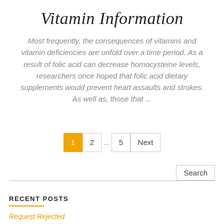Vitamin Information
Most frequently, the consequences of vitamins and vitamin deficiencies are unfold over a time period. As a result of folic acid can decrease homocysteine levels, researchers once hoped that folic acid dietary supplements would prevent heart assaults and strokes. As well as, those that ...
RECENT POSTS
Request Rejected
A History In Folic Acid Has Been Included To An Elevated Threat Of...